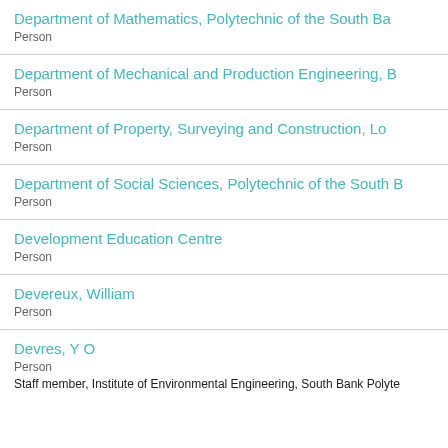Department of Mathematics, Polytechnic of the South Ba
Person
Department of Mechanical and Production Engineering, B
Person
Department of Property, Surveying and Construction, Lo
Person
Department of Social Sciences, Polytechnic of the South B
Person
Development Education Centre
Person
Devereux, William
Person
Devres, Y O
Person
Staff member, Institute of Environmental Engineering, South Bank Polyte